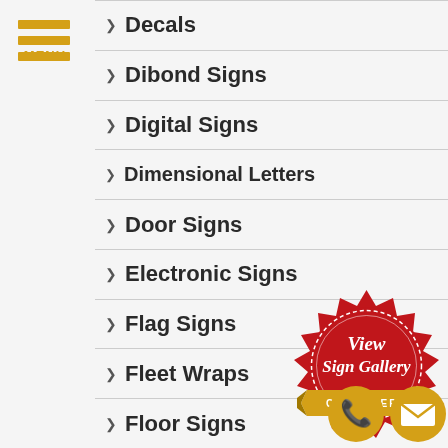[Figure (logo): Hamburger menu icon with three gold horizontal bars and MENU label in gold text]
Decals
Dibond Signs
Digital Signs
Dimensional Letters
Door Signs
Electronic Signs
Flag Signs
Fleet Wraps
Floor Signs
[Figure (illustration): Red badge seal with white dashed border reading 'View Sign Gallery' in script with gold ribbon banner saying 'CLICK HERE']
[Figure (illustration): Gold circle phone icon and gold circle email/envelope icon]